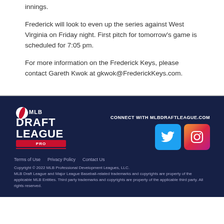innings.
Frederick will look to even up the series against West Virginia on Friday night. First pitch for tomorrow’s game is scheduled for 7:05 pm.
For more information on the Frederick Keys, please contact Gareth Kwok at gkwok@FrederickKeys.com.
[Figure (logo): MLB Draft League logo in white text on dark navy background]
CONNECT WITH MLBDRAFTLEAGUE.COM
[Figure (logo): Twitter bird icon on blue background]
[Figure (logo): Instagram camera icon on gradient background]
Terms of Use   Privacy Policy   Contact Us
Copyright © 2022 MLB Professional Development Leagues, LLC.
MLB Draft League and Major League Baseball-related trademarks and copyrights are property of the applicable MLB Entities. Third party trademarks and copyrights are property of the applicable third party. All rights reserved.